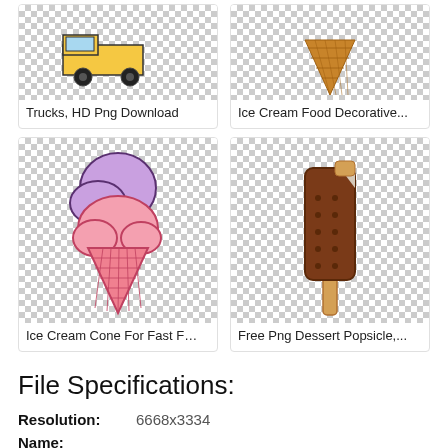[Figure (illustration): Card showing a food truck on a checkered background with label 'Trucks, HD Png Download']
[Figure (illustration): Card showing an ice cream cone on a checkered background with label 'Ice Cream Food Decorative...']
[Figure (illustration): Card showing an ice cream cone with purple and pink scoops on a checkered background with label 'Ice Cream Cone For Fast F...']
[Figure (illustration): Card showing a chocolate popsicle on a checkered background with label 'Free Png Dessert Popsicle,...']
File Specifications:
Resolution:    6668x3334
Name:
Scoopless In Seattle - Thai Rolled Ice Cream Food Truck, HD Png Download